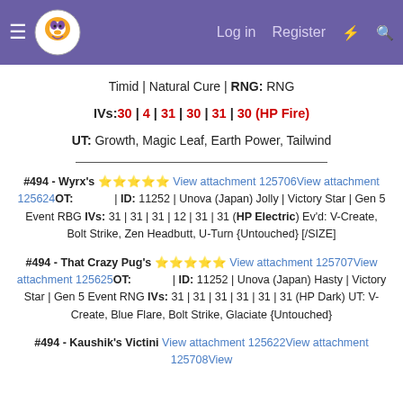Log in  Register
Timid | Natural Cure | RNG: RNG
IVs: 30 | 4 | 31 | 30 | 31 | 30 (HP Fire)
UT: Growth, Magic Leaf, Earth Power, Tailwind
#494 - Wyrx's 🌟🌟🌟🌟🌟 View attachment 125706 View attachment 125624 OT: 　　　 | ID: 11252 | Unova (Japan) Jolly | Victory Star | Gen 5 Event RBG IVs: 31 | 31 | 31 | 12 | 31 | 31 (HP Electric) Ev'd: V-Create, Bolt Strike, Zen Headbutt, U-Turn {Untouched} [/SIZE]
#494 - That Crazy Pug's 🌟🌟🌟🌟🌟 View attachment 125707 View attachment 125625 OT: 　　　 | ID: 11252 | Unova (Japan) Hasty | Victory Star | Gen 5 Event RNG IVs: 31 | 31 | 31 | 31 | 31 | 31 (HP Dark) UT: V-Create, Blue Flare, Bolt Strike, Glaciate {Untouched}
#494 - Kaushik's Victini View attachment 125622 View attachment 125708 View